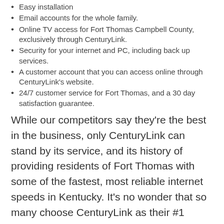Easy installation
Email accounts for the whole family.
Online TV access for Fort Thomas Campbell County, exclusively through CenturyLink.
Security for your internet and PC, including back up services.
A customer account that you can access online through CenturyLink's website.
24/7 customer service for Fort Thomas, and a 30 day satisfaction guarantee.
While our competitors say they're the best in the business, only CenturyLink can stand by its service, and its history of providing residents of Fort Thomas with some of the fastest, most reliable internet speeds in Kentucky. It's no wonder that so many choose CenturyLink as their #1 provider for phone and internet services.
Bundle and Save in Fort Thomas